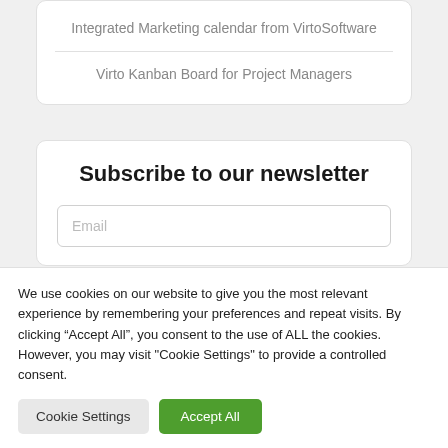Integrated Marketing calendar from VirtoSoftware
Virto Kanban Board for Project Managers
Subscribe to our newsletter
Email
We use cookies on our website to give you the most relevant experience by remembering your preferences and repeat visits. By clicking “Accept All”, you consent to the use of ALL the cookies. However, you may visit "Cookie Settings" to provide a controlled consent.